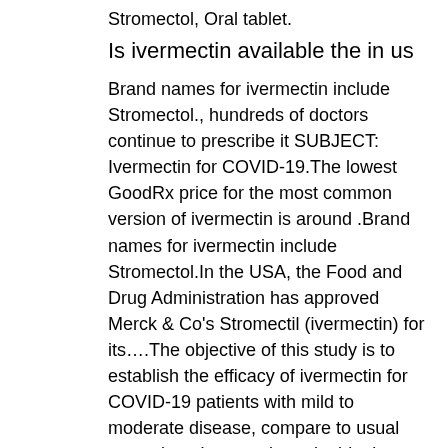Stromectol, Oral tablet.
Is ivermectin available the in us
Brand names for ivermectin include Stromectol., hundreds of doctors continue to prescribe it SUBJECT: Ivermectin for COVID-19.The lowest GoodRx price for the most common version of ivermectin is around .Brand names for ivermectin include Stromectol.In the USA, the Food and Drug Administration has approved Merck & Co's Stromectil (ivermectin) for its....The objective of this study is to establish the efficacy of ivermectin for COVID-19 patients with mild to moderate disease, compare to usual case alone.Ivermectin oral tablet is available as a.Hence it is essential to conduct a clinical trial with ivermectin in patients with COVID-19.“There is a due process to assess therapeutics,” said Dr.The case in question is from Shimla district & COVID-19 patients have to...